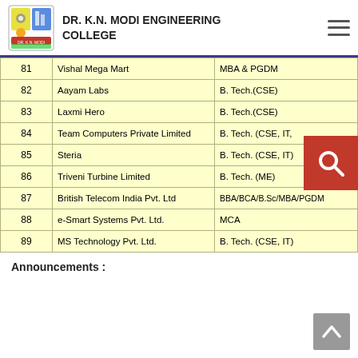DR. K.N. MODI ENGINEERING COLLEGE
| # | Company | Eligible Branches |
| --- | --- | --- |
| 81 | Vishal Mega Mart | MBA & PGDM |
| 82 | Aayam Labs | B. Tech.(CSE) |
| 83 | Laxmi Hero | B. Tech.(CSE) |
| 84 | Team Computers Private Limited | B. Tech. (CSE, IT,…) |
| 85 | Steria | B. Tech. (CSE, IT) |
| 86 | Triveni Turbine Limited | B. Tech. (ME) |
| 87 | British Telecom India Pvt. Ltd | BBA/BCA/B.Sc/MBA/PGDM |
| 88 | e-Smart Systems Pvt. Ltd. | MCA |
| 89 | MS Technology Pvt. Ltd. | B. Tech. (CSE, IT) |
Announcements :